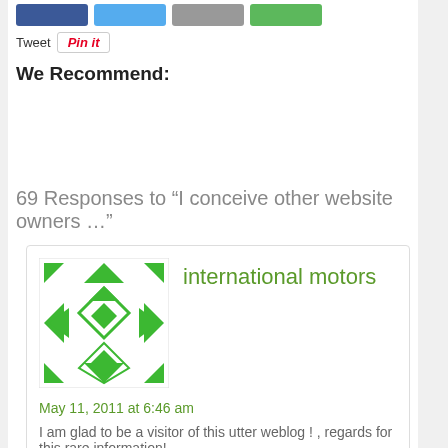[Figure (screenshot): Social share buttons: blue, light blue, gray, green]
Tweet  Pin it
We Recommend:
69 Responses to “I conceive other website owners …”
[Figure (illustration): Green geometric avatar for international motors commenter]
international motors
May 11, 2011 at 6:46 am
I am glad to be a visitor of this utter weblog ! , regards for this rare information! .
[Figure (illustration): Purple geometric avatar for ParionsSport commenter]
ParionsSport